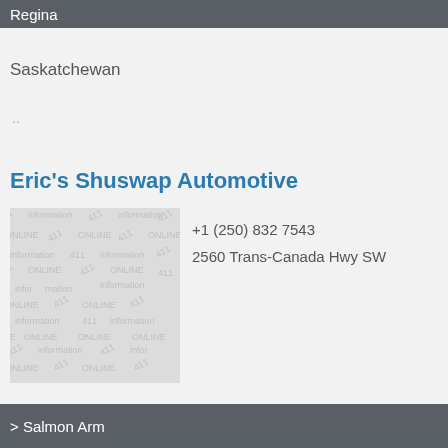Regina
Saskatchewan
..
Eric's Shuswap Automotive
[Figure (logo): 411 information online watermark/placeholder image]
+1 (250) 832 7543
2560 Trans-Canada Hwy SW
> Salmon Arm